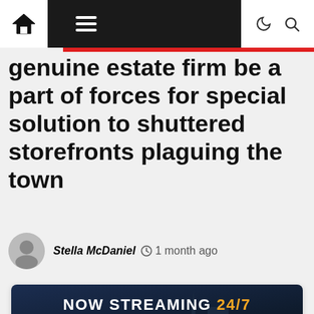Navigation bar with home icon, menu, moon/dark-mode icon, search icon
genuine estate firm be a part of forces for special solution to shuttered storefronts plaguing the town
Stella McDaniel  1 month ago
[Figure (screenshot): Video player thumbnail showing a city skyline at night with text NOW STREAMING 24/7 and a CLICK HERE button at the bottom]